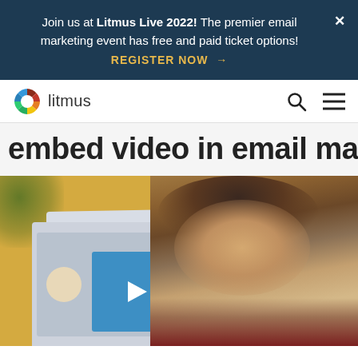Join us at Litmus Live 2022! The premier email marketing event has free and paid ticket options! REGISTER NOW →
[Figure (logo): Litmus logo: colorful pinwheel icon with 'litmus' text]
embed video in email marketing
[Figure (photo): Hero image showing a smiling man at a computer with a monitor displaying a video player (blue play button). Yellow background with plant blur in top left.]